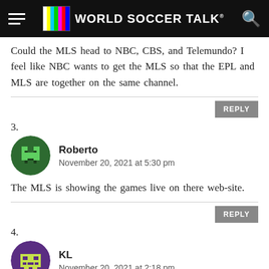World Soccer Talk
Could the MLS head to NBC, CBS, and Telemundo? I feel like NBC wants to get the MLS so that the EPL and MLS are together on the same channel.
3. Roberto — November 20, 2021 at 5:30 pm
The MLS is showing the games live on there web-site.
4. KL — November 20, 2021 at 2:18 pm
Any way to watch the NYRB match for free on roku?